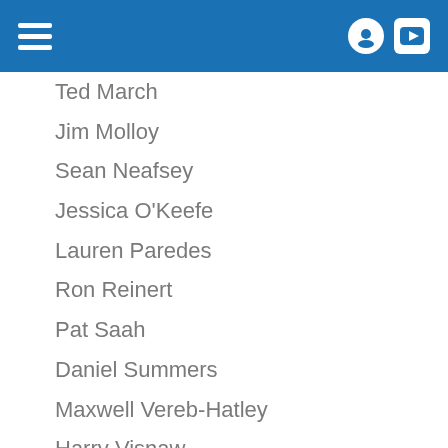Navigation header with hamburger menu and icons
Ted March
Jim Molloy
Sean Neafsey
Jessica O'Keefe
Lauren Paredes
Ron Reinert
Pat Saah
Daniel Summers
Maxwell Vereb-Hatley
Harry Visnaw
William Ward
November 27
Kim Brown
Joyce Brown
Laura Catalano
Ann Davis